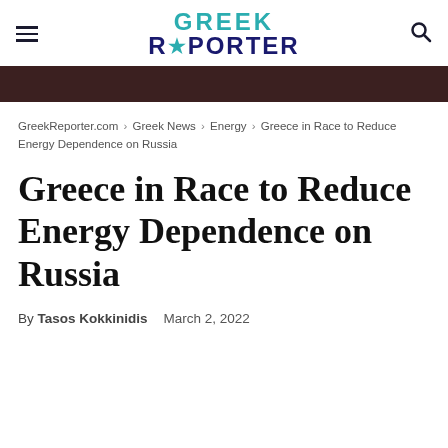GREEK REPORTER
GreekReporter.com › Greek News › Energy › Greece in Race to Reduce Energy Dependence on Russia
Greece in Race to Reduce Energy Dependence on Russia
By Tasos Kokkinidis   March 2, 2022